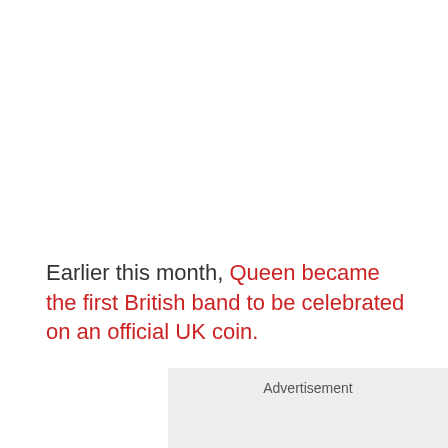Earlier this month, Queen became the first British band to be celebrated on an official UK coin.
Advertisement